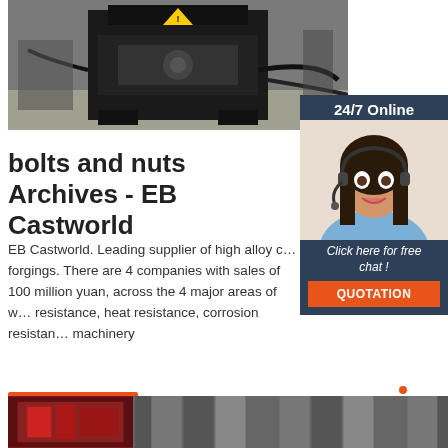[Figure (photo): Industrial black machine/equipment on workshop floor with cables]
[Figure (infographic): 24/7 Online chat widget with customer service representative photo and QUOTATION button]
bolts and nuts Archives - EB Castworld
EB Castworld. Leading supplier of high alloy castings and forgings. There are 4 companies with sales of more than 100 million yuan, across the 4 major areas of wear resistance, heat resistance, corrosion resistance and machinery
[Figure (other): Get Price button - orange rectangle]
[Figure (other): TOP scroll-to-top icon in orange]
[Figure (photo): Bottom image strip showing industrial equipment/machinery]